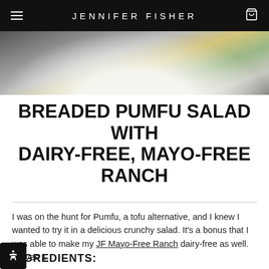JENNIFER FISHER
[Figure (photo): Close-up photo of a colorful salad with vegetables and dressing on a white plate]
BREADED PUMFU SALAD WITH DAIRY-FREE, MAYO-FREE RANCH
I was on the hunt for Pumfu, a tofu alternative, and I knew I wanted to try it in a delicious crunchy salad. It's a bonus that I was able to make my JF Mayo-Free Ranch dairy-free as well. Serves 1.
INGREDIENTS: